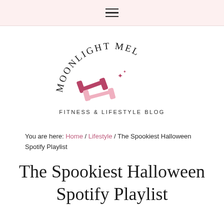≡
[Figure (logo): Moonlight Mel Fitness & Lifestyle Blog logo: arched text 'MOONLIGHT MEL' above two crossed dumbbells (dark pink and light pink) with sparkles, and 'FITNESS & LIFESTYLE BLOG' below in spaced caps]
You are here: Home / Lifestyle / The Spookiest Halloween Spotify Playlist
The Spookiest Halloween Spotify Playlist